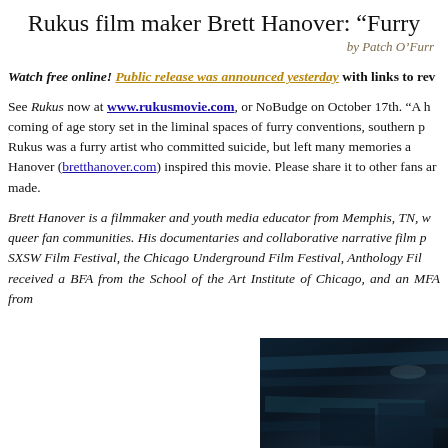Rukus film maker Brett Hanover: “Furry
by Patch O’Furr
Watch free online! Public release was announced yesterday with links to rev…
See Rukus now at www.rukusmovie.com, or NoBudge on October 17th. “A h… coming of age story set in the liminal spaces of furry conventions, southern p… Rukus was a furry artist who committed suicide, but left many memories a… Hanover (bretthanover.com) inspired this movie. Please share it to other fans ar… made.
Brett Hanover is a filmmaker and youth media educator from Memphis, TN, w… queer fan communities. His documentaries and collaborative narrative film p… SXSW Film Festival, the Chicago Underground Film Festival, Anthology Fil… received a BFA from the School of the Art Institute of Chicago, and an MFA from…
[Figure (photo): Dark, dimly lit photo showing abstract shapes or surfaces with teal/blue tones, appearing to be film stills or an artistic photograph related to the Rukus film.]